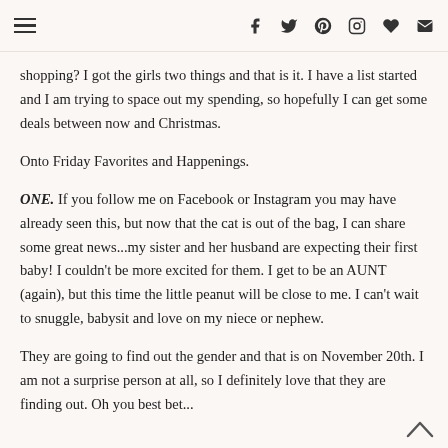navigation and social icons
shopping? I got the girls two things and that is it. I have a list started and I am trying to space out my spending, so hopefully I can get some deals between now and Christmas.
Onto Friday Favorites and Happenings.
ONE. If you follow me on Facebook or Instagram you may have already seen this, but now that the cat is out of the bag, I can share some great news...my sister and her husband are expecting their first baby! I couldn't be more excited for them. I get to be an AUNT (again), but this time the little peanut will be close to me. I can't wait to snuggle, babysit and love on my niece or nephew.
They are going to find out the gender and that is on November 20th. I am not a surprise person at all, so I definitely love that they are finding out. Oh you best bet...